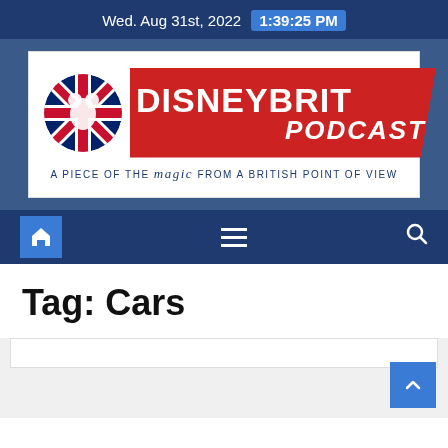Wed. Aug 31st, 2022  1:39:25 PM
[Figure (logo): DisneyBrit Podcast logo — red diagonal banner with white bold text DISNEYBRIT PODCAST, Union Jack circle on left, tagline: A PIECE OF THE magic FROM A BRITISH POINT OF VIEW]
Tag: Cars